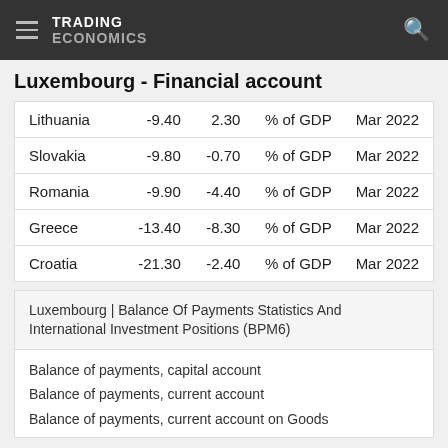TRADING ECONOMICS
Luxembourg - Financial account
|  |  |  |  |  |
| --- | --- | --- | --- | --- |
| Lithuania | -9.40 | 2.30 | % of GDP | Mar 2022 |
| Slovakia | -9.80 | -0.70 | % of GDP | Mar 2022 |
| Romania | -9.90 | -4.40 | % of GDP | Mar 2022 |
| Greece | -13.40 | -8.30 | % of GDP | Mar 2022 |
| Croatia | -21.30 | -2.40 | % of GDP | Mar 2022 |
Luxembourg | Balance Of Payments Statistics And International Investment Positions (BPM6)
Balance of payments, capital account
Balance of payments, current account
Balance of payments, current account on Goods